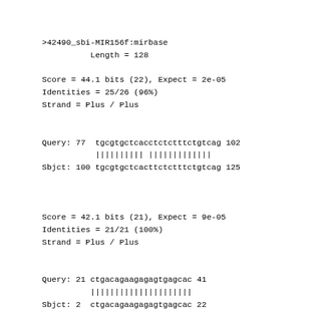>42490_sbi-MIR156f:mirbase
          Length = 128

Score = 44.1 bits (22), Expect = 2e-05
Identities = 25/26 (96%)
Strand = Plus / Plus


Query: 77  tgcgtgctcacctctctttctgtcag 102
           |||||||||| |||||||||||||
Sbjct: 100 tgcgtgctcacttctctttctgtcag 125



Score = 42.1 bits (21), Expect = 9e-05
Identities = 21/21 (100%)
Strand = Plus / Plus


Query: 21 ctgacagaagagagtgagcac 41
          |||||||||||||||||||||
Sbjct: 2  ctgacagaagagagtgagcac 22